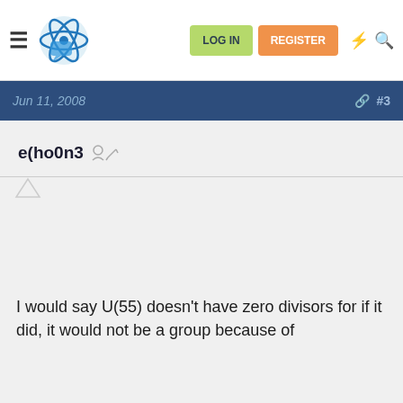Navigation bar with LOG IN and REGISTER buttons
Jun 11, 2008  #3
e(ho0n3
I would say U(55) doesn't have zero divisors for if it did, it would not be a group because of